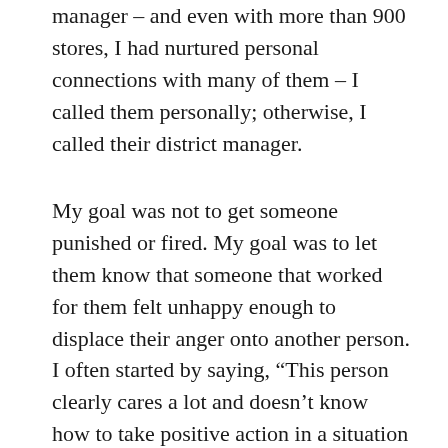manager – and even with more than 900 stores, I had nurtured personal connections with many of them – I called them personally; otherwise, I called their district manager.
My goal was not to get someone punished or fired. My goal was to let them know that someone that worked for them felt unhappy enough to displace their anger onto another person. I often started by saying, “This person clearly cares a lot and doesn’t know how to take positive action in a situation that feels out of their control.” We’d talk about how, when you don’t have regular personal contact with someone, they get perceived as a non-person. The bottom line – which the person I was speaking to often said before I had to –